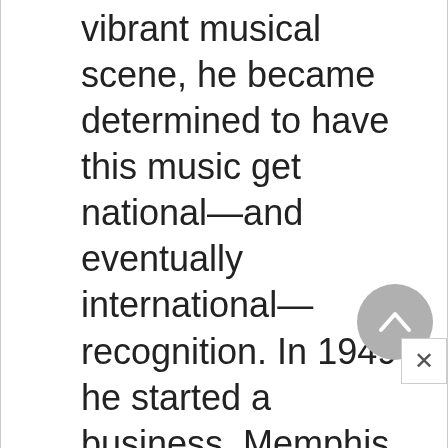vibrant musical scene, he became determined to have this music get national—and eventually international—recognition. In 1949 he started a business, Memphis Recording Service, working there at night after his shift at the radio station. He recorded anything he could make a little money from, mostly weddings and $2–a–side personal recordings; he also recorded political speeches and once he even recorded a car muffler and testified in court about its